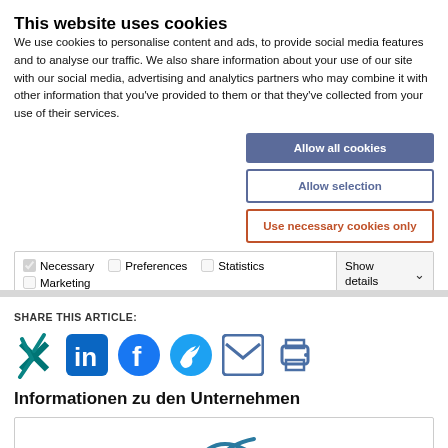This website uses cookies
We use cookies to personalise content and ads, to provide social media features and to analyse our traffic. We also share information about your use of our site with our social media, advertising and analytics partners who may combine it with other information that you've provided to them or that they've collected from your use of their services.
Allow all cookies
Allow selection
Use necessary cookies only
| ☑ Necessary | ☐ Preferences | ☐ Statistics | Show details ∨ |
| ☐ Marketing |  |  |  |
SHARE THIS ARTICLE:
[Figure (infographic): Social share icons: Xing, LinkedIn, Facebook, Twitter, Email, Print]
Informationen zu den Unternehmen
[Figure (logo): Company logo partially visible at bottom]